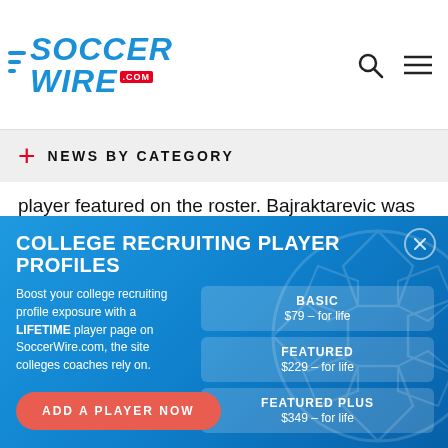[Figure (logo): SoccerWire.com logo with blue text and red badge]
NEWS BY CATEGORY
player featured on the roster. Bajraktarevic was called back up in April for a domestic training camp ahead of this summer's Concacaf U-20 Championship.
“I am excited to take this next step in my career and to
[Figure (infographic): College Recruiting Player Profiles advertisement banner with BASIC $79 for life, FEATURED $229 for life, FEATURED PLUS $349 for life pricing options and ADD A PLAYER NOW button]